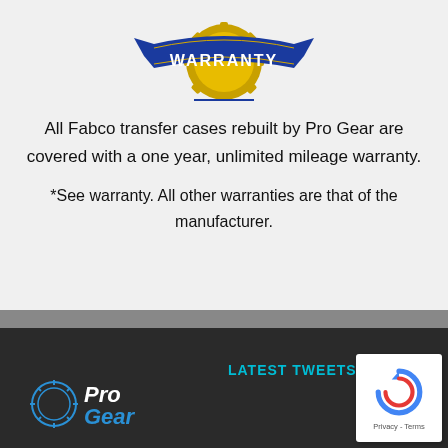[Figure (logo): Warranty badge with blue ribbon banner and gold gear/medal, text WARRANTY on the ribbon]
All Fabco transfer cases rebuilt by Pro Gear are covered with a one year, unlimited mileage warranty.
*See warranty. All other warranties are that of the manufacturer.
LATEST TWEETS
[Figure (logo): Pro Gear logo in white and blue italic text]
[Figure (other): reCAPTCHA widget box with circular arrow icon and Privacy - Terms text]